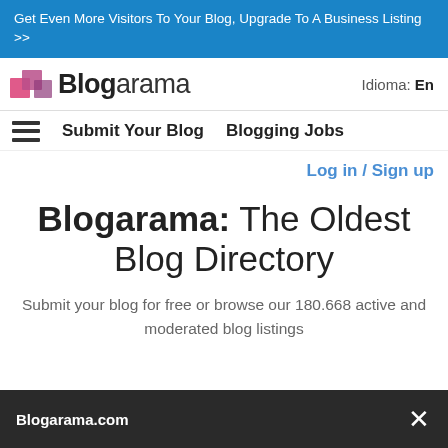Get Even More Visitors To Your Blog, Upgrade To A Business Listing >>
Blogarama
Idioma: En
Submit Your Blog   Blogging Jobs
Log in / Sign up
Blogarama: The Oldest Blog Directory
Submit your blog for free or browse our 180.668 active and moderated blog listings
Blogarama.com